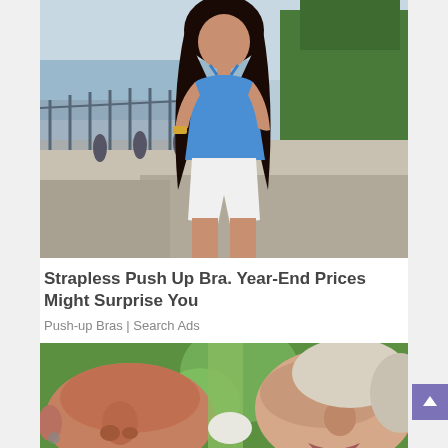[Figure (photo): Young woman with long dark hair wearing a blue sleeveless top and white shorts, standing outdoors near a waterfront railing area]
Strapless Push Up Bra. Year-End Prices Might Surprise You
Push-up Bras | Search Ads
[Figure (photo): Close-up of two elderly people's faces facing each other, outdoors with green bokeh background]